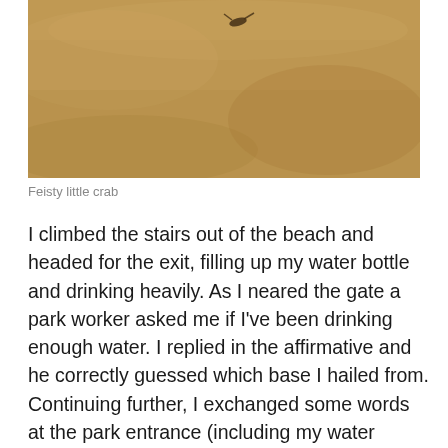[Figure (photo): Close-up photo of sandy/tan textured surface (likely sand or crab shell), with a small dark mark or crab visible near the top center]
Feisty little crab
I climbed the stairs out of the beach and headed for the exit, filling up my water bottle and drinking heavily. As I neared the gate a park worker asked me if I've been drinking enough water. I replied in the affirmative and he correctly guessed which base I hailed from. Continuing further, I exchanged some words at the park entrance (including my water consumption) and witnessed something unusual. A man in a small pickup approached and said he has a delivery, some eagles. I peered into the truck and saw some vicious talons and some patterned